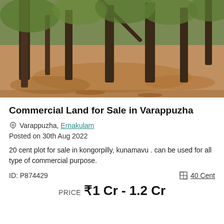[Figure (photo): Outdoor photo of a land plot with trees and dry brown earth, showing trunks of trees and fallen leaves on the ground]
Commercial Land for Sale in Varappuzha
Varappuzha, Ernakulam
Posted on 30th Aug 2022
20 cent plot for sale in kongorpilly, kunamavu . can be used for all type of commercial purpose.
ID: P874429
40 Cent
PRICE ₹1 Cr - 1.2 Cr